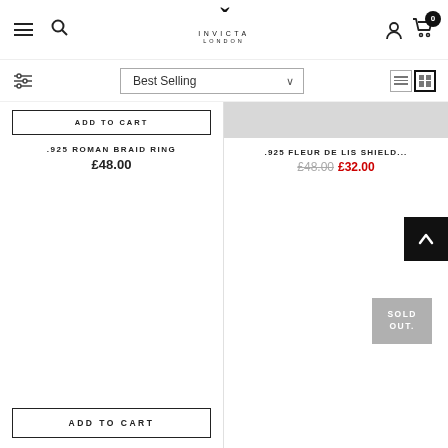INVICTA LONDON — navigation header with logo, search, cart (0)
Best Selling — sort dropdown with filter and view icons
ADD TO CART
.925 ROMAN BRAID RING
£48.00
.925 FLEUR DE LIS SHIELD...
£48.00  £32.00
SOLD OUT.
ADD TO CART